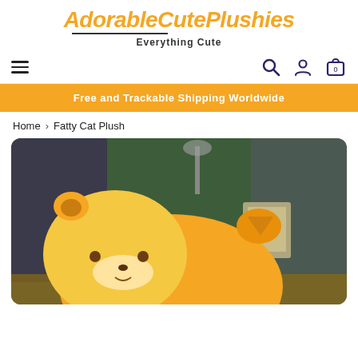[Figure (logo): AdorableCutePlushies logo with orange handwritten-style text and 'Everything Cute' subtitle]
Navigation bar with hamburger menu, search icon, account icon, and cart icon (0 items)
Free and Trackable Shipping Worldwide
Home > Fatty Cat Plush
[Figure (photo): Close-up photo of a yellow/orange fatty cat plush toy lying on a surface, with a blurred background showing green plants and furniture]